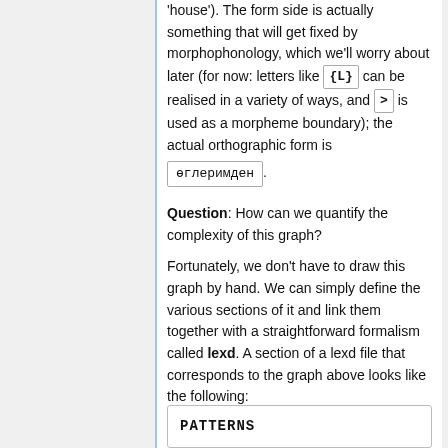'house'). The form side is actually something that will get fixed by morphophonology, which we'll worry about later (for now: letters like {L} can be realised in a variety of ways, and > is used as a morpheme boundary); the actual orthographic form is өглеримден.
Question: How can we quantify the complexity of this graph?
Fortunately, we don't have to draw this graph by hand. We can simply define the various sections of it and link them together with a straightforward formalism called lexd. A section of a lexd file that corresponds to the graph above looks like the following:
PATTERNS